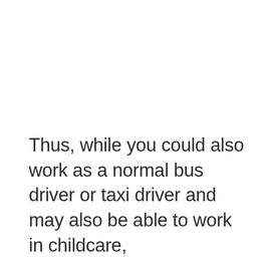Thus, while you could also work as a normal bus driver or taxi driver and may also be able to work in childcare,